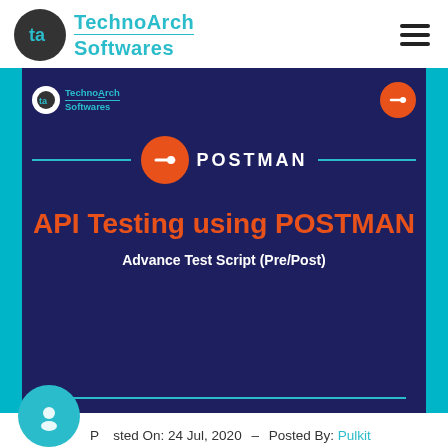TechnoArch Softwares
[Figure (screenshot): Dark blue panel with POSTMAN logo and text 'API Testing using POSTMAN' with subtitle 'Advance Test Script (Pre/Post)', flanked by cyan side bars. Includes TechnoArch Softwares logo in top-left and a postman icon top-right.]
Posted On: 24 Jul, 2020  –  Posted By: Pulkit